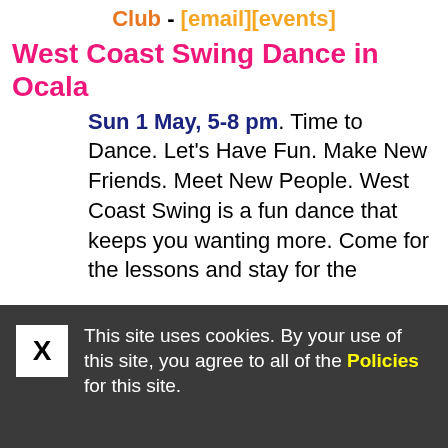Club - [email][events]
West Coast Swing Dance in Ocala
Sun 1 May, 5-8 pm. Time to Dance. Let's Have Fun. Make New Friends. Meet New People. West Coast Swing is a fun dance that keeps you wanting more. Come for the lessons and stay for the
This site uses cookies. By your use of this site, you agree to all of the Policies for this site.